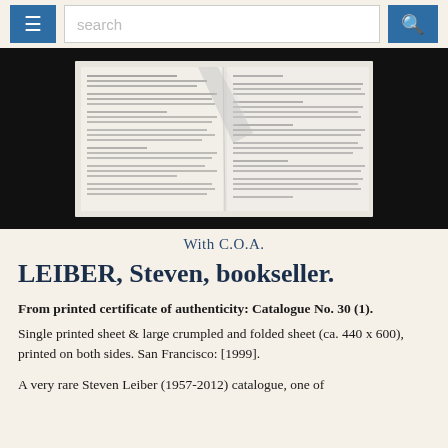search
[Figure (photo): Photograph of an open crumpled and folded printed sheet/catalogue against a black background, showing two pages of dense text in small type.]
With C.O.A.
LEIBER, Steven, bookseller.
From printed certificate of authenticity: Catalogue No. 30 (1).
Single printed sheet & large crumpled and folded sheet (ca. 440 x 600), printed on both sides. San Francisco: [1999].
A very rare Steven Leiber (1957-2012) catalogue, one of